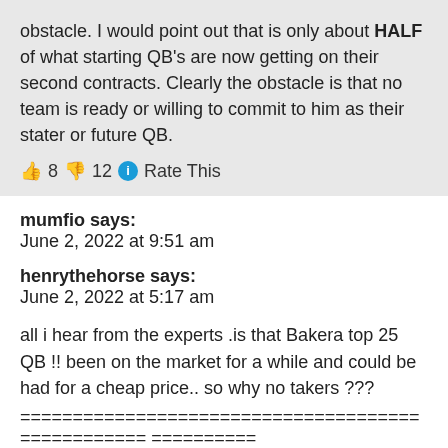obstacle. I would point out that is only about HALF of what starting QB's are now getting on their second contracts. Clearly the obstacle is that no team is ready or willing to commit to him as their stater or future QB.
👍 8 👎 12 ℹ Rate This
mumfio says:
June 2, 2022 at 9:51 am
henrythehorse says:
June 2, 2022 at 5:17 am
all i hear from the experts .is that Bakera top 25 QB !! been on the market for a while and could be had for a cheap price.. so why no takers ???
================================================== ==========
Because Mayfield is guaranteed $18.8 million this upcoming season. Any new team is going to want Cleveland to pay that